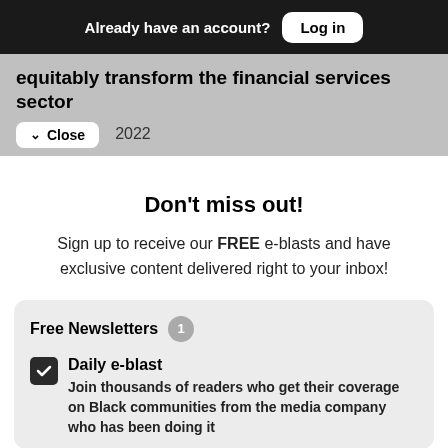Already have an account? Log in
equitably transform the financial services sector
2022
Don't miss out!
Sign up to receive our FREE e-blasts and have exclusive content delivered right to your inbox!
Free Newsletters 1
Daily e-blast – Join thousands of readers who get their coverage on Black communities from the media company who has been doing it